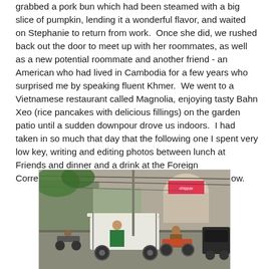grabbed a pork bun which had been steamed with a big slice of pumpkin, lending it a wonderful flavor, and waited on Stephanie to return from work.  Once she did, we rushed back out the door to meet up with her roommates, as well as a new potential roommate and another friend - an American who had lived in Cambodia for a few years who surprised me by speaking fluent Khmer.  We went to a Vietnamese restaurant called Magnolia, enjoying tasty Bahn Xeo (rice pancakes with delicious fillings) on the garden patio until a sudden downpour drove us indoors.  I had taken in so much that day that the following one I spent very low key, writing and editing photos between lunch at Friends and dinner and a drink at the Foreign Correspondents Club, a spot overlooking the river below.
[Figure (photo): Street scene in Cambodia showing tuk-tuks and motorbikes on a busy road, with a woman sitting in a tuk-tuk in the foreground and motorcycles weaving through traffic. Buildings and signage visible in the background.]